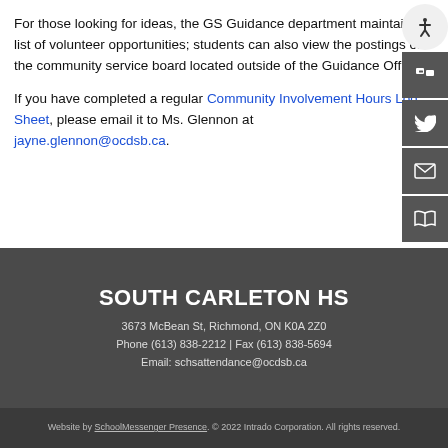For those looking for ideas, the GS Guidance department maintains a list of volunteer opportunities; students can also view the postings on the community service board located outside of the Guidance Office.
If you have completed a regular Community Involvement Hours Log Sheet, please email it to Ms. Glennon at jayne.glennon@ocdsb.ca.
SOUTH CARLETON HS
3673 McBean St, Richmond, ON K0A 2Z0
Phone (613) 838-2212 | Fax (613) 838-5694
Email: schsattendance@ocdsb.ca
Website by SchoolMessenger Presence. © 2022 Intrado Corporation. All rights reserved.